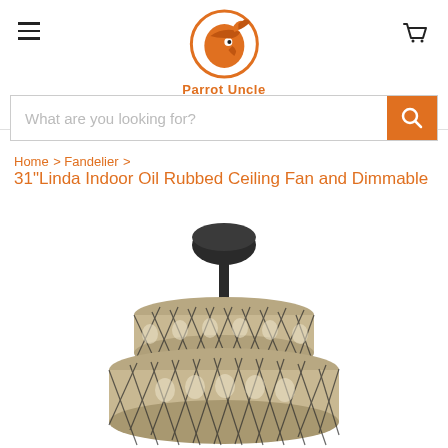Parrot Uncle
What are you looking for?
Home > Fandelier > 31"Linda Indoor Oil Rubbed Ceiling Fan and Dimmable
31"Linda Indoor Oil Rubbed Ceiling Fan and Dimmable
[Figure (photo): Photo of a ceiling fan chandelier (fandelier) with a dark oil-rubbed bronze finish, featuring a decorative metalwork drum shade with a diamond lattice pattern, suspended from a black rod and canopy, against a white background.]